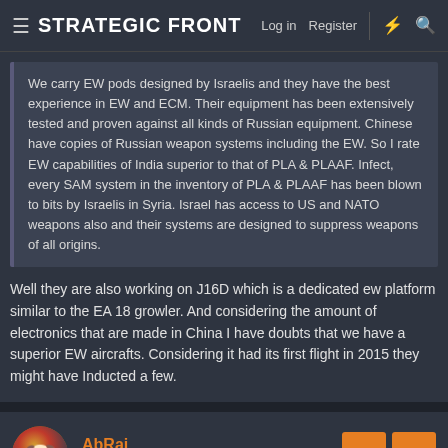≡ STRATEGIC FRONT   Log in   Register
We carry EW pods designed by Israelis and they have the best experience in EW and ECM. Their equipment has been extensively tested and proven against all kinds of Russian equipment. Chinese have copies of Russian weapon systems including the EW. So I rate EW capabilities of India superior to that of PLA & PLAAF. Infect, every SAM system in the inventory of PLA & PLAAF has been blown to bits by Israelis in Syria. Israel has access to US and NATO weapons also and their systems are designed to suppress weapons of all origins.
Well they are also working on J16D which is a dedicated ew platform similar to the EA 18 growler. And considering the amount of electronics that are made in China I have doubts that we have a superior EW aircrafts. Considering it had its first flight in 2015 they might have Inducted a few.
AbRaj
Senior member